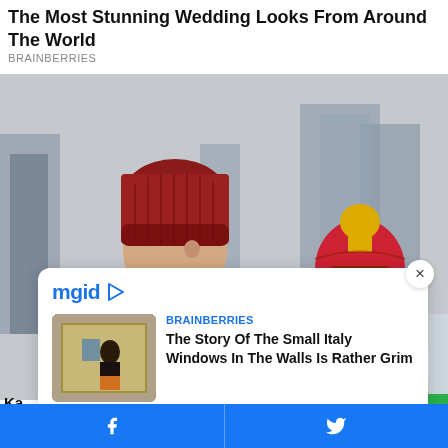The Most Stunning Wedding Looks From Around The World
BRAINBERRIES
[Figure (photo): Two people in a city setting: one person wearing a red knit beanie and dark jacket facing right, another person in a red superhero helmet/mask with city skyscrapers in the background]
[Figure (screenshot): mgid ad card overlay showing BRAINBERRIES article: 'The Story Of The Small Italy Windows In The Walls Is Rather Grim' with thumbnail image]
Kan Ho BRA
Facebook share button and Twitter share button